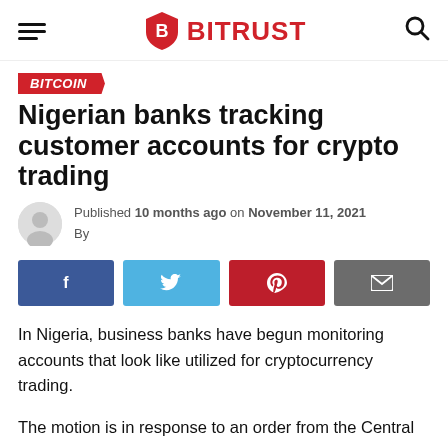BITRUST
BITCOIN
Nigerian banks tracking customer accounts for crypto trading
Published 10 months ago on November 11, 2021
By
[Figure (other): Social share buttons: Facebook, Twitter, Pinterest, Email]
In Nigeria, business banks have begun monitoring accounts that look like utilized for cryptocurrency trading.
The motion is in response to an order from the Central